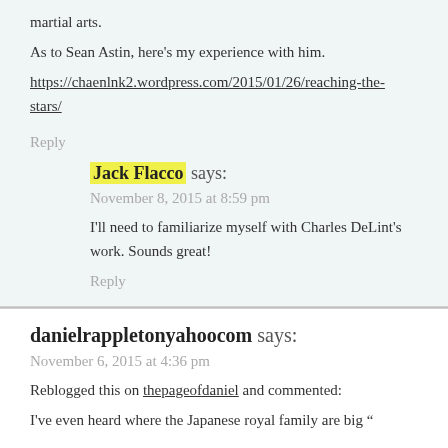martial arts.
As to Sean Astin, here's my experience with him.
https://chaenlnk2.wordpress.com/2015/01/26/reaching-the-stars/
Reply
Jack Flacco says:
November 8, 2015 at 8:59 pm
I'll need to familiarize myself with Charles DeLint's work. Sounds great!
Reply
danielrappletonyahoocom says:
November 6, 2015 at 4:36 pm
Reblogged this on thepageofdaniel and commented:
I've even heard where the Japanese royal family are big...